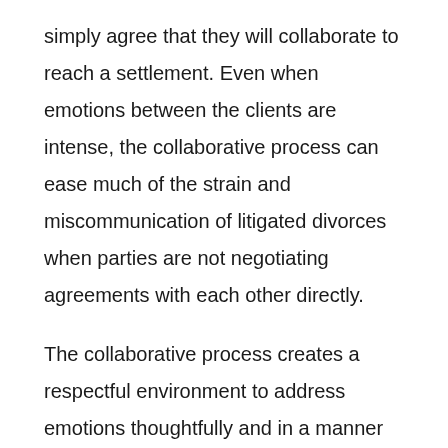simply agree that they will collaborate to reach a settlement. Even when emotions between the clients are intense, the collaborative process can ease much of the strain and miscommunication of litigated divorces when parties are not negotiating agreements with each other directly.
The collaborative process creates a respectful environment to address emotions thoughtfully and in a manner that does not add fuel to the fire. Clients are supported in both speaking and listening to each other respectfully and in a non-adversarial manner, identifying what their interests are, and working positively to achieve them. The directness of communications in meetings and the fact that a client's questions and concerns are voiced often